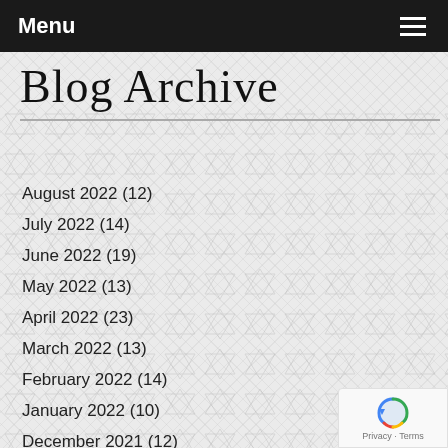Menu
Blog Archive
August 2022 (12)
July 2022 (14)
June 2022 (19)
May 2022 (13)
April 2022 (23)
March 2022 (13)
February 2022 (14)
January 2022 (10)
December 2021 (12)
November 2021 (4)
October 2021 (15)